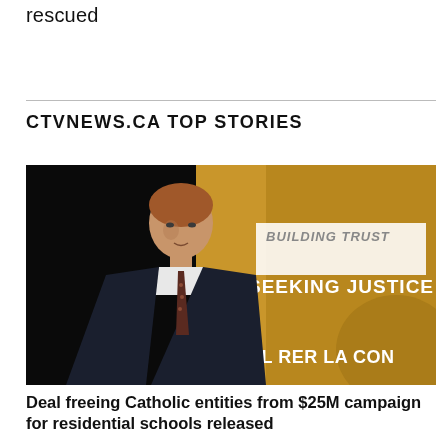rescued
CTVNEWS.CA TOP STORIES
[Figure (photo): A man in a dark suit and tie standing in front of a golden banner reading 'BUILDING TRUST' and 'SEEKING JUSTICE' and partially 'AL RER LA CON']
Deal freeing Catholic entities from $25M campaign for residential schools released